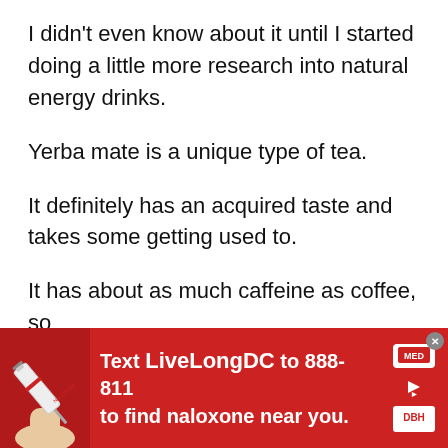I didn't even know about it until I started doing a little more research into natural energy drinks.
Yerba mate is a unique type of tea.
It definitely has an acquired taste and takes some getting used to.
It has about as much caffeine as coffee, so
[Figure (infographic): Red advertisement banner: Text LiveLongDC to 888-811 to find naloxone near you. Shows a hand holding a syringe on the left, and logos on the right including a play button icon and DBH logo. Close button (x) in top right corner.]